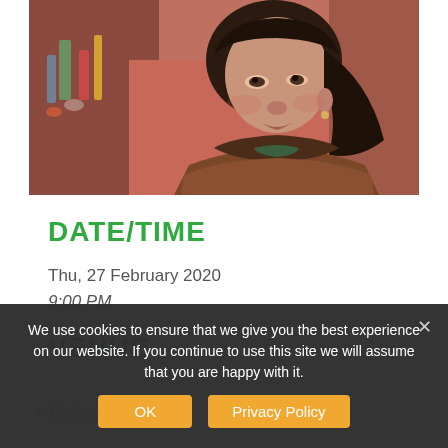[Figure (photo): Photo of a woman with dark hair wearing a brown fur-collar coat, seated in what appears to be a bar or restaurant setting with colorful bottles visible in the background.]
DATE/TIME
Thu, 27 February 2020
9:00 PM
VENUE
We use cookies to ensure that we give you the best experience on our website. If you continue to use this site we will assume that you are happy with it.
Derbyshire